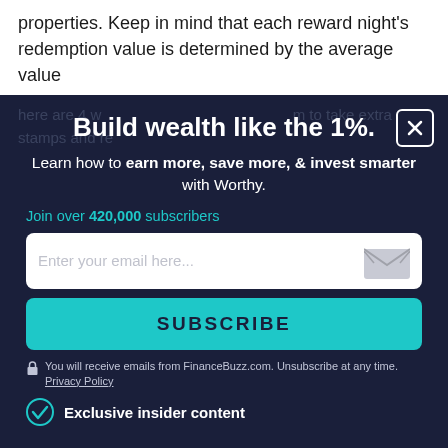properties. Keep in mind that each reward night's redemption value is determined by the average value
of the 10 stamps previously earned. The higher the value of each stamp you earn, the higher the value your re...
Build wealth like the 1%.
Learn how to earn more, save more, & invest smarter with Worthy.
Join over 420,000 subscribers
[Figure (screenshot): Email subscription input field with placeholder text 'Enter your email here...' and an envelope icon on the right]
[Figure (screenshot): SUBSCRIBE button in teal/cyan color]
You will receive emails from FinanceBuzz.com. Unsubscribe at any time. Privacy Policy
Exclusive insider content